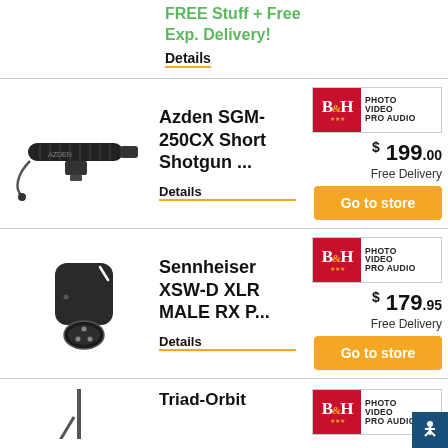FREE Stuff + Free Exp. Delivery!
Details
[Figure (photo): Azden SGM-250CX short shotgun microphone with cable]
Azden SGM-250CX Short Shotgun ...
Details
[Figure (logo): B&H Photo Video Pro Audio logo]
$ 199.00
Free Delivery
Go to store
[Figure (photo): Sennheiser XSW-D XLR Male RX plug adapter]
Sennheiser XSW-D XLR MALE RX P...
Details
[Figure (logo): B&H Photo Video Pro Audio logo]
$ 179.95
Free Delivery
Go to store
Triad-Orbit
[Figure (logo): B&H Photo Video Pro Audio logo]